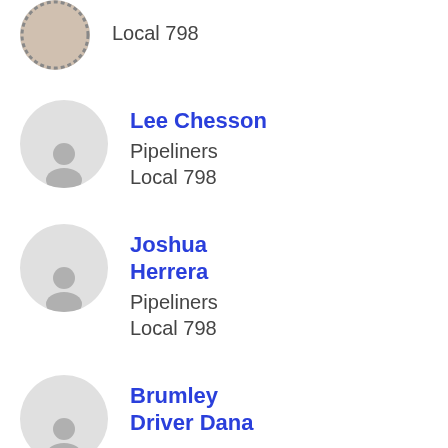Local 798
Lee Chesson
Pipeliners
Local 798
Joshua Herrera
Pipeliners
Local 798
Brumley Driver Dana